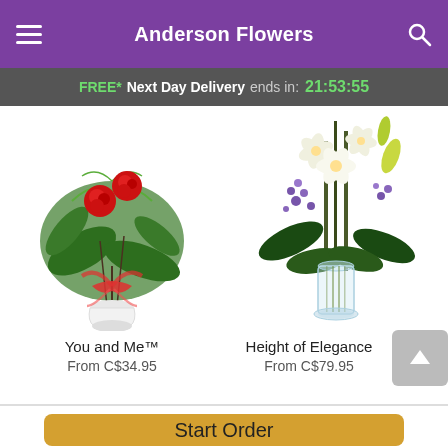Anderson Flowers
FREE* Next Day Delivery ends in: 21:53:55
[Figure (photo): Floral arrangement: two red roses with greenery in a small white vase with a red ribbon bow. Product name: You and Me™. Price: From C$34.95]
[Figure (photo): Floral arrangement: tall elegant bouquet of white lilies and purple flowers with green foliage in a clear glass vase. Product name: Height of Elegance. Price: From C$79.95]
You and Me™
From C$34.95
Height of Elegance
From C$79.95
Start Order